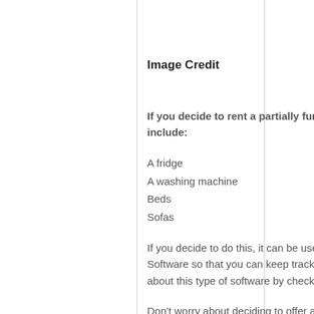Image Credit
If you decide to rent a partially furnished property, you could also include:
A fridge
A washing machine
Beds
Sofas
If you decide to do this, it can be useful to invest in Property Inventory Software so that you can keep track of the items. You can find out more about this type of software by checking out Property Inventory Software.
Don't worry about deciding to offer an unfurnished or partially furnished property; many families and long-term renters already own furniture, so they exclusively search for unfurnished homes. However, if you are offering a student property, it can be useful